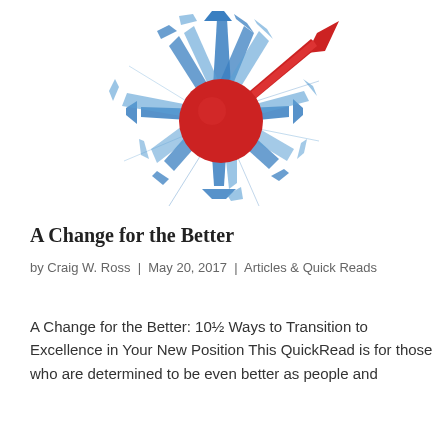[Figure (illustration): A starburst of blue arrows pointing outward in many directions from a central red circle, with a large red arrow breaking out to the upper right, symbolizing change and direction.]
A Change for the Better
by Craig W. Ross | May 20, 2017 | Articles & Quick Reads
A Change for the Better: 10½ Ways to Transition to Excellence in Your New Position This QuickRead is for those who are determined to be even better as people and